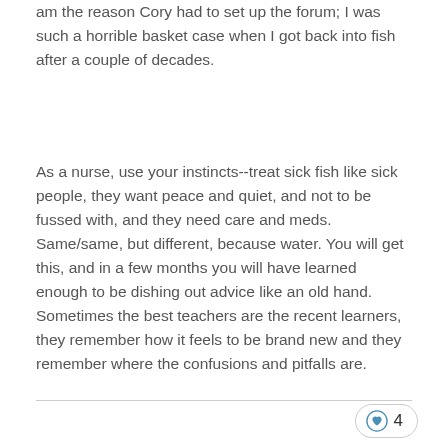am the reason Cory had to set up the forum; I was such a horrible basket case when I got back into fish after a couple of decades.
As a nurse, use your instincts--treat sick fish like sick people, they want peace and quiet, and not to be fussed with, and they need care and meds. Same/same, but different, because water. You will get this, and in a few months you will have learned enough to be dishing out advice like an old hand. Sometimes the best teachers are the recent learners, they remember how it feels to be brand new and they remember where the confusions and pitfalls are.